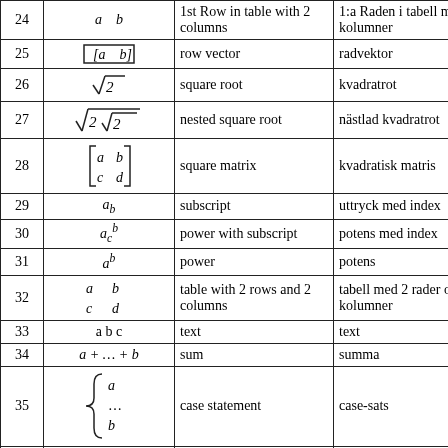| # | Formula | English | Swedish |
| --- | --- | --- | --- |
| 24 | a  b | 1st Row in table with 2 columns | 1:a Raden i tabell med 2 kolumner |
| 25 | [a  b] | row vector | radvektor |
| 26 | √2 | square root | kvadratrot |
| 27 | √(2√2) | nested square root | nästlad kvadratrot |
| 28 | [[a b],[c d]] | square matrix | kvadratisk matris |
| 29 | a_b | subscript | uttryck med index |
| 30 | a_c^b | power with subscript | potens med index |
| 31 | a^b | power | potens |
| 32 | a b / c d | table with 2 rows and 2 columns | tabell med 2 rader och 2 kolumner |
| 33 | a b c | text | text |
| 34 | a + ... + b | sum | summa |
| 35 | {a, ..., b} | case statement | case-sats |
|  | [a  b  e] |  |  |